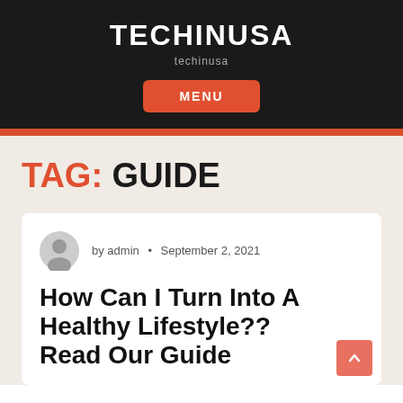TECHINUSA
techinusa
MENU
TAG: GUIDE
by admin • September 2, 2021
How Can I Turn Into A Healthy Lifestyle?? Read Our Guide